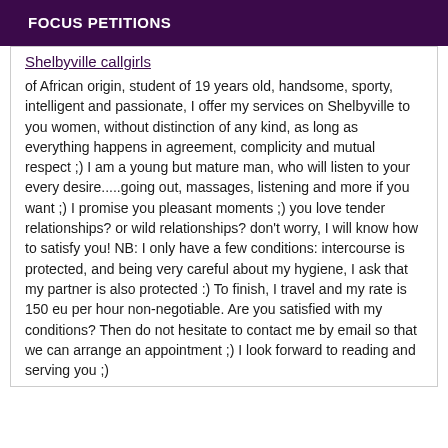FOCUS PETITIONS
Shelbyville callgirls
of African origin, student of 19 years old, handsome, sporty, intelligent and passionate, I offer my services on Shelbyville to you women, without distinction of any kind, as long as everything happens in agreement, complicity and mutual respect ;) I am a young but mature man, who will listen to your every desire.....going out, massages, listening and more if you want ;) I promise you pleasant moments ;) you love tender relationships? or wild relationships? don't worry, I will know how to satisfy you! NB: I only have a few conditions: intercourse is protected, and being very careful about my hygiene, I ask that my partner is also protected :) To finish, I travel and my rate is 150 eu per hour non-negotiable. Are you satisfied with my conditions? Then do not hesitate to contact me by email so that we can arrange an appointment ;) I look forward to reading and serving you ;)